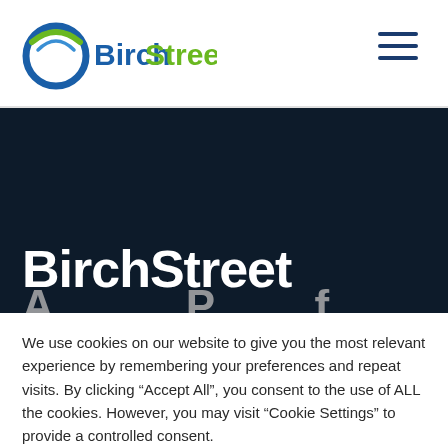[Figure (logo): BirchStreet logo with blue swoosh circle graphic and text 'BirchStreet' in blue and green]
[Figure (other): Hamburger menu icon with three horizontal dark blue lines]
BirchStreet
We use cookies on our website to give you the most relevant experience by remembering your preferences and repeat visits. By clicking “Accept All”, you consent to the use of ALL the cookies. However, you may visit "Cookie Settings" to provide a controlled consent.
Cookie Settings | Accept All